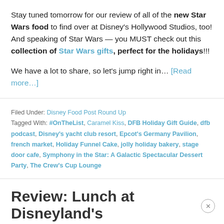Stay tuned tomorrow for our review of all of the new Star Wars food to find over at Disney's Hollywood Studios, too! And speaking of Star Wars — you MUST check out this collection of Star Wars gifts, perfect for the holidays!!!
We have a lot to share, so let's jump right in… [Read more…]
Filed Under: Disney Food Post Round Up
Tagged With: #OnTheList, Caramel Kiss, DFB Holiday Gift Guide, dfb podcast, Disney's yacht club resort, Epcot's Germany Pavilion, french market, Holiday Funnel Cake, jolly holiday bakery, stage door cafe, Symphony in the Star: A Galactic Spectacular Dessert Party, The Crew's Cup Lounge
Review: Lunch at Disneyland's French Market